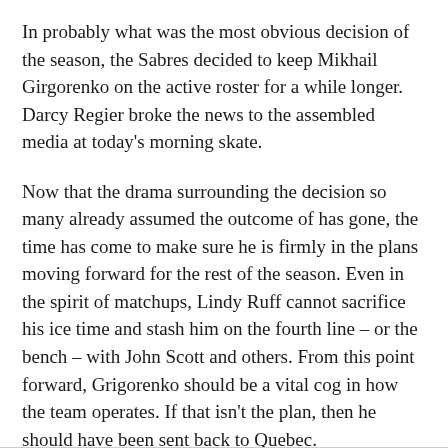In probably what was the most obvious decision of the season, the Sabres decided to keep Mikhail Girgorenko on the active roster for a while longer. Darcy Regier broke the news to the assembled media at today's morning skate.
Now that the drama surrounding the decision so many already assumed the outcome of has gone, the time has come to make sure he is firmly in the plans moving forward for the rest of the season. Even in the spirit of matchups, Lindy Ruff cannot sacrifice his ice time and stash him on the fourth line – or the bench – with John Scott and others. From this point forward, Grigorenko should be a vital cog in how the team operates. If that isn't the plan, then he should have been sent back to Quebec.